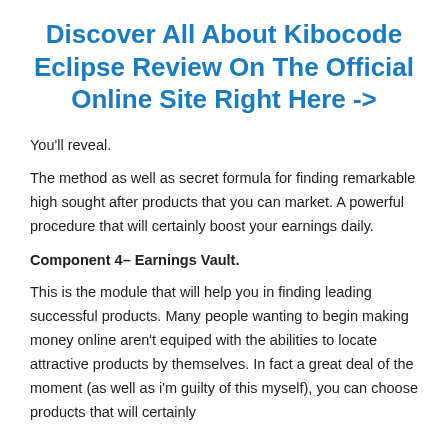Discover All About Kibocode Eclipse Review On The Official Online Site Right Here ->
You'll reveal.
The method as well as secret formula for finding remarkable high sought after products that you can market. A powerful procedure that will certainly boost your earnings daily.
Component 4– Earnings Vault.
This is the module that will help you in finding leading successful products. Many people wanting to begin making money online aren't equiped with the abilities to locate attractive products by themselves. In fact a great deal of the moment (as well as i'm guilty of this myself), you can choose products that will certainly